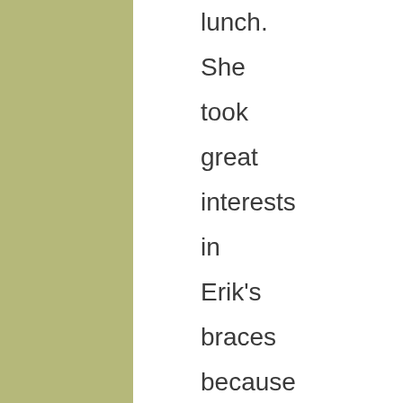lunch. She took great interests in Erik's braces because she was going through some serious debates (with herself) about that. It was